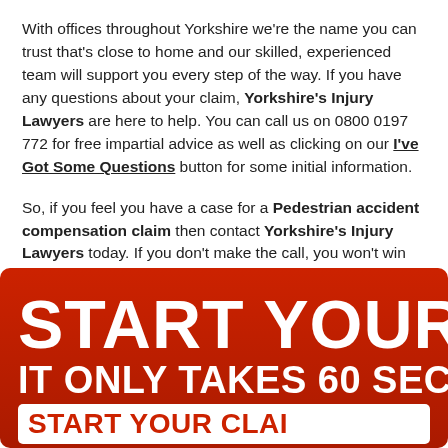With offices throughout Yorkshire we're the name you can trust that's close to home and our skilled, experienced team will support you every step of the way. If you have any questions about your claim, Yorkshire's Injury Lawyers are here to help. You can call us on 0800 0197 772 for free impartial advice as well as clicking on our I've Got Some Questions button for some initial information.
So, if you feel you have a case for a Pedestrian accident compensation claim then contact Yorkshire's Injury Lawyers today. If you don't make the call, you won't win the claim. .
[Figure (other): Red banner with white bold text reading 'START YOUR C' (truncated) and 'IT ONLY TAKES 60 SEC' (truncated), with a white button area below showing 'START YOUR CLAI' (truncated). Red gradient background with rounded top corners.]